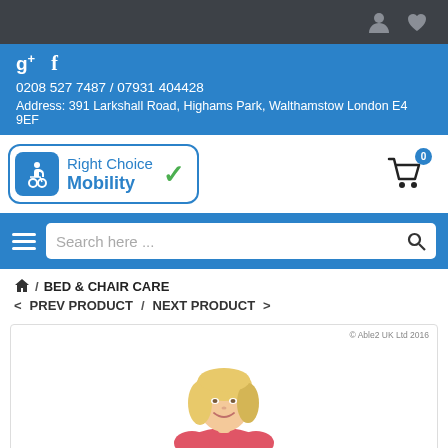Top navigation bar with user and wishlist icons
g+ f
0208 527 7487 / 07931 404428
Address: 391 Larkshall Road, Highams Park, Walthamstow London E4 9EF
[Figure (logo): Right Choice Mobility logo with wheelchair icon and green checkmark]
[Figure (other): Shopping cart icon with badge showing 0]
Search here ...
/ BED & CHAIR CARE
< PREV PRODUCT / NEXT PRODUCT >
[Figure (photo): Woman with blonde hair wearing pink top, smiling. © Able2 UK Ltd 2016]